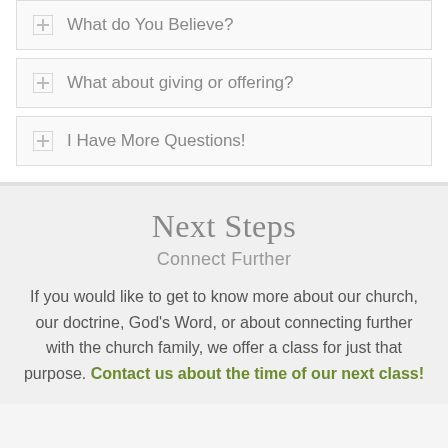What do You Believe?
What about giving or offering?
I Have More Questions!
Next Steps
Connect Further
If you would like to get to know more about our church, our doctrine, God's Word, or about connecting further with the church family, we offer a class for just that purpose. Contact us about the time of our next class!